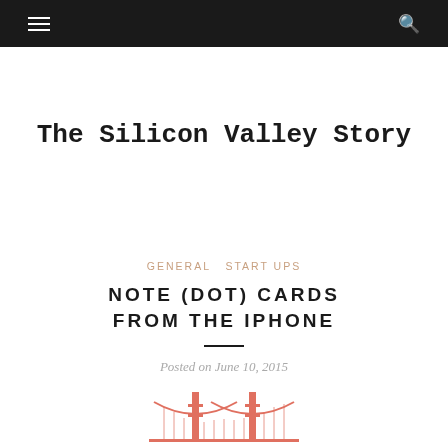Navigation bar with menu and search icons
The Silicon Valley Story
GENERAL  START UPS
NOTE (DOT) CARDS FROM THE IPHONE
Posted on June 10, 2015
[Figure (illustration): Partial illustration of the Golden Gate Bridge in salmon/coral color at the bottom of the page]